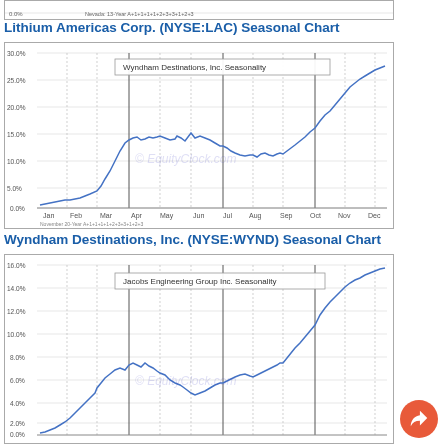[Figure (continuous-plot): Top partial chart stub showing a previous seasonal chart (partially visible at top of page)]
Lithium Americas Corp. (NYSE:LAC) Seasonal Chart
[Figure (continuous-plot): Seasonal chart for Lithium Americas Corp (NYSE:LAC) / labeled inside as Wyndham Destinations Inc Seasonality. Line starts near 0% in Jan, rises steeply through Mar to ~15%, fluctuates 15-18% Apr-Aug, dips to ~12% in Sep, then rises strongly to ~27% by Dec. Y-axis: 0% to 30%. X-axis: Jan through Dec. Watermark: EquityClock.com]
Wyndham Destinations, Inc. (NYSE:WYND) Seasonal Chart
[Figure (continuous-plot): Seasonal chart for Wyndham Destinations Inc (NYSE:WYND) / labeled inside as Jacobs Engineering Group Inc Seasonality. Line starts near 0%, rises to ~8% by Mar, fluctuates 5-9% Mar-May, dips to ~4% Jun-Jul, rises sharply from Sep to ~15% by Dec. Y-axis: 0% to 16%. X-axis: Jan through Dec. Watermark: EquityClock.com]